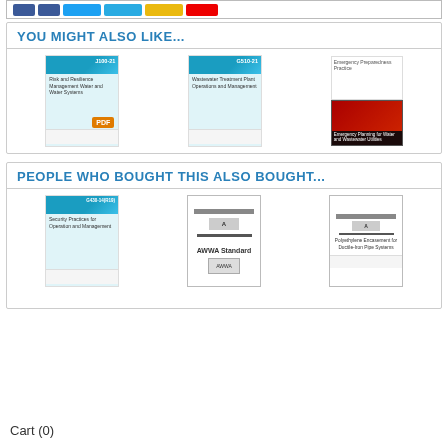[Figure (screenshot): Social media sharing buttons strip at top (Facebook, Twitter, Google+, YouTube)]
YOU MIGHT ALSO LIKE...
[Figure (screenshot): Three book covers: J100-21 Risk and Resilience Management Water (with PDF badge), G510-21 Wastewater Treatment Plant Operations and Management, and Emergency Planning for Water and Wastewater Utilities]
PEOPLE WHO BOUGHT THIS ALSO BOUGHT...
[Figure (screenshot): Three book covers: G430-14(R19) Security Practices for Operation and Management, AWWA Standard, and Polyethylene Encasement for Ductile-Iron Pipe Systems]
Cart (0)